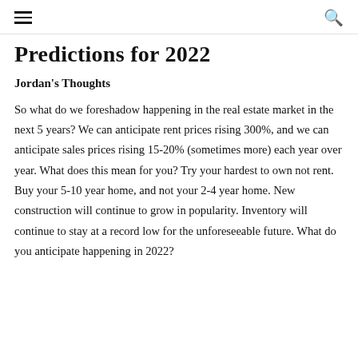≡  🔍
Predictions for 2022
Jordan's Thoughts
So what do we foreshadow happening in the real estate market in the next 5 years? We can anticipate rent prices rising 300%, and we can anticipate sales prices rising 15-20% (sometimes more) each year over year. What does this mean for you? Try your hardest to own not rent. Buy your 5-10 year home, and not your 2-4 year home. New construction will continue to grow in popularity. Inventory will continue to stay at a record low for the unforeseeable future. What do you anticipate happening in 2022?